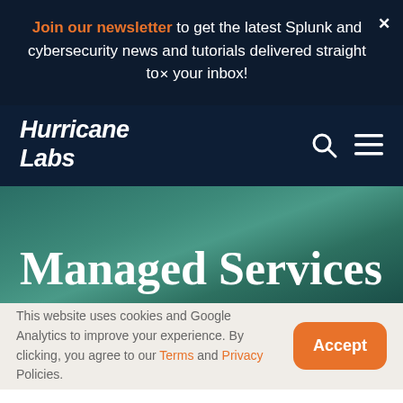Join our newsletter to get the latest Splunk and cybersecurity news and tutorials delivered straight to your inbox!
[Figure (logo): Hurricane Labs logo in white italic bold text on dark navy background]
Managed Services
This website uses cookies and Google Analytics to improve your experience. By clicking, you agree to our Terms and Privacy Policies.